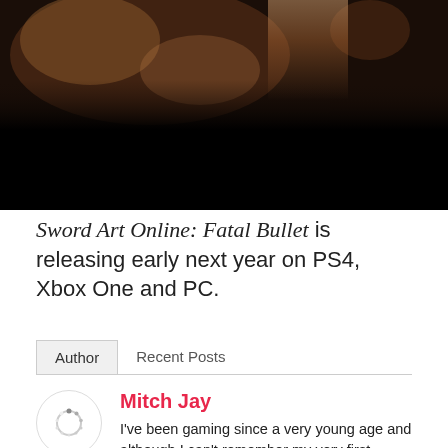[Figure (photo): Dark cinematic screenshot from Sword Art Online: Fatal Bullet video game, showing a character with a weapon in a dimly lit environment. Bottom portion is solid black.]
Sword Art Online: Fatal Bullet is releasing early next year on PS4, Xbox One and PC.
Author | Recent Posts
Mitch Jay
I've been gaming since a very young age and although I can't remember my very first game, I fondly remember enjoying Sonic the Hedgehog 2 and being giddy with joy...